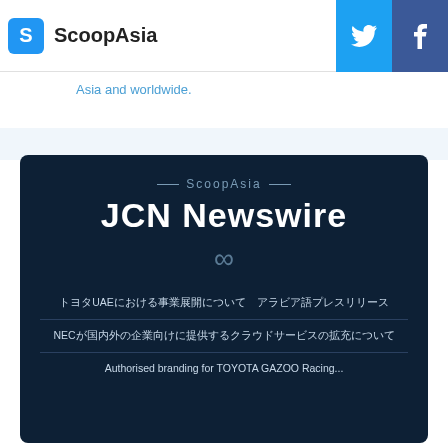ScoopAsia
Asia and worldwide.
JCN Newswire
— ScoopAsia —
トヨタUAEにおける事業展開について アラビア語プレスリリース
NECが国内外の企業向けに提供するクラウドサービスの拡充について
Authorised branding for TOYOTA GAZOO Racing...